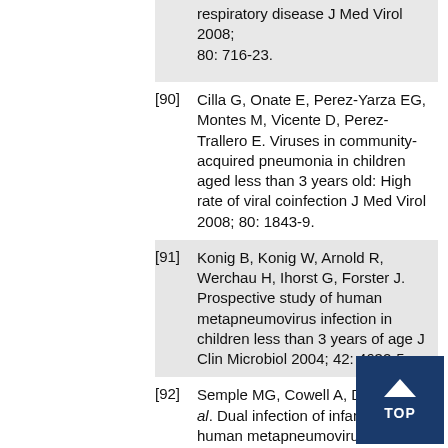[partial] respiratory disease J Med Virol 2008; 80: 716-23.
[90] Cilla G, Onate E, Perez-Yarza EG, Montes M, Vicente D, Perez-Trallero E. Viruses in community-acquired pneumonia in children aged less than 3 years old: High rate of viral coinfection J Med Virol 2008; 80: 1843-9.
[91] Konig B, Konig W, Arnold R, Werchau H, Ihorst G, Forster J. Prospective study of human metapneumovirus infection in children less than 3 years of age J Clin Microbiol 2004; 42: 4632-5.
[92] Semple MG, Cowell A, Dove W, et al. Dual infection of infants by human metapneumovirus and human respiratory syncytial virus is strongly associated with severe bronchiolitis J Infect Dis 2005; 191: 382-6.
[93] Richard N, Komurian-Pradel F, Javouhey E, et al. The impact of dual viral infection in infants admitted to a pediatric intensive care unit associated with severe bronchiolitis Pediatr Infect Dis J 2008; 27: 213-7.